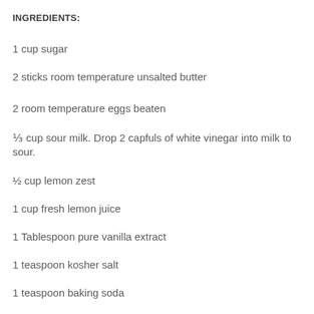INGREDIENTS:
1 cup sugar
2 sticks room temperature unsalted butter
2 room temperature eggs beaten
⅓ cup sour milk. Drop 2 capfuls of white vinegar into milk to sour.
½ cup lemon zest
1 cup fresh lemon juice
1 Tablespoon pure vanilla extract
1 teaspoon kosher salt
1 teaspoon baking soda